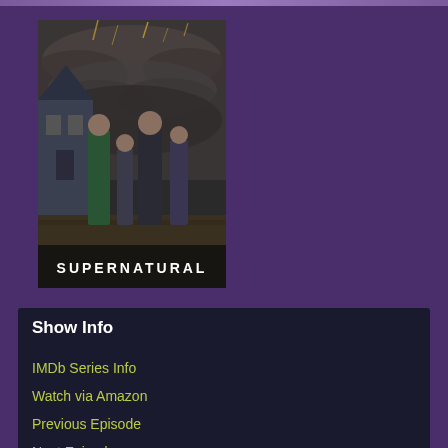[Figure (photo): Movie/TV show poster for Supernatural showing four characters standing in front of a house with dramatic cloudy sky, with the text SUPERNATURAL at the bottom]
Show Info
IMDb Series Info
Watch via Amazon
Previous Episode
Next Episode
Show Page